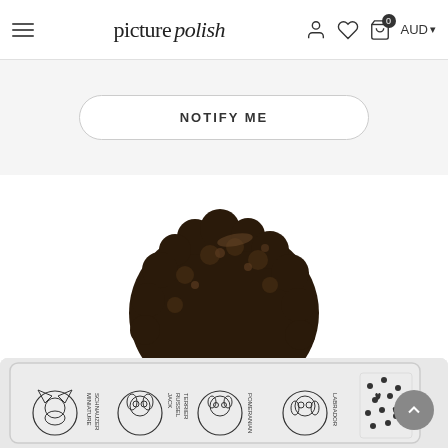picture polish — navigation header with hamburger menu, logo, user icon, wishlist icon, cart (0), AUD currency selector
NOTIFY ME
[Figure (illustration): Illustrated character: a smiling Black woman with voluminous curly afro hair, wearing gold hoop earrings, a cream/beige cardigan over a striped yellow sweater, with blue overall straps visible. She is laughing with eyes closed joyfully.]
[Figure (photo): Bottom portion showing a nail art stamping plate with dog breed illustrations (Miniature Schnauzer, Jack Russell Terrier, Pomeranian, Labrador) and paw print patterns. The plate is light grey/silver.]